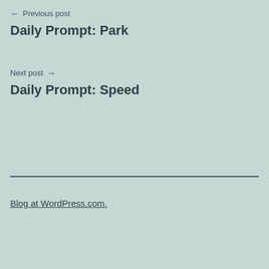← Previous post
Daily Prompt: Park
Next post →
Daily Prompt: Speed
Blog at WordPress.com.